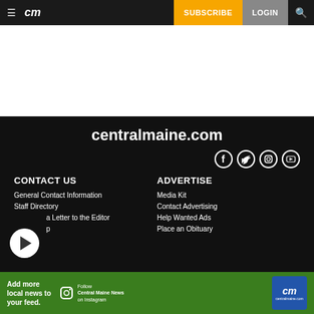cm | SUBSCRIBE | LOGIN
centralmaine.com
CONTACT US
General Contact Information
Staff Directory
Submit a Letter to the Editor
FAQs
ADVERTISE
Media Kit
Contact Advertising
Help Wanted Ads
Place an Obituary
Add more local news to your feed. Follow Central Maine News on Instagram | centralmaine.com